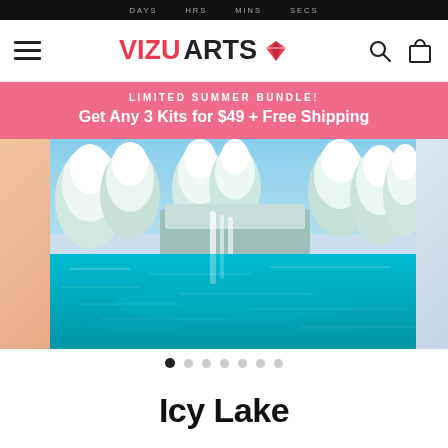DAYS  HRS  MINS  SECS
[Figure (logo): VIZU ARTS logo with red VIZU text, black ARTS text, and a red diamond icon]
LIMITED SUMMER BUNDLE!
Get Any 3 Kits for $49 + Free Shipping
[Figure (photo): A stunning winter landscape showing a turquoise icy lake surrounded by snow-covered trees and waterfalls]
Icy Lake